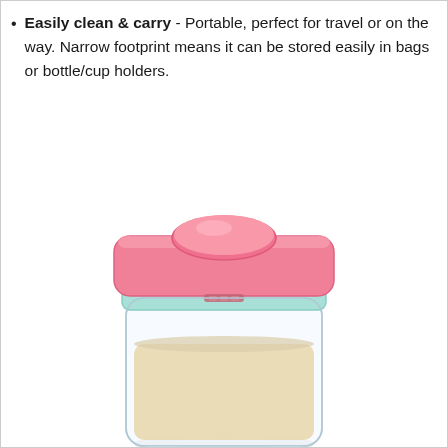Easily clean & carry - Portable, perfect for travel or on the way. Narrow footprint means it can be stored easily in bags or bottle/cup holders.
[Figure (photo): A square airtight food storage container with a pink lid featuring a round press-button top, a light blue/mint seal ring, a clear transparent body partially filled with a light beige/cream powder substance (possibly formula or sugar). A faint reflection is visible below the container.]